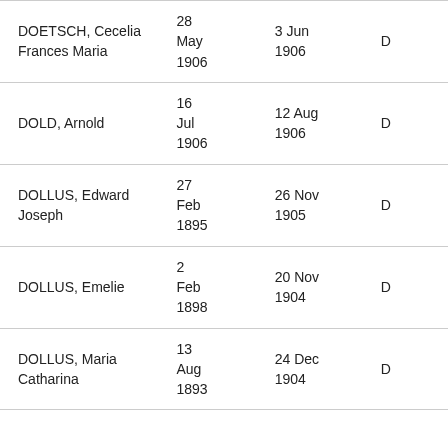| Name | Birth Date | Event Date |  |
| --- | --- | --- | --- |
| DOETSCH, Cecelia Frances Maria | 28 May 1906 | 3 Jun 1906 | D |
| DOLD, Arnold | 16 Jul 1906 | 12 Aug 1906 | D |
| DOLLUS, Edward Joseph | 27 Feb 1895 | 26 Nov 1905 | D |
| DOLLUS, Emelie | 2 Feb 1898 | 20 Nov 1904 | D |
| DOLLUS, Maria Catharina | 13 Aug 1893 | 24 Dec 1904 | D |